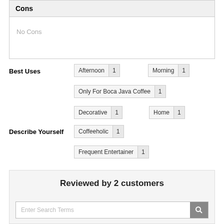Cons
No Cons
Best Uses
Afternoon 1
Morning 1
Only For Boca Java Coffee 1
Decorative 1
Home 1
Describe Yourself
Coffeeholic 1
Frequent Entertainer 1
Reviewed by 2 customers